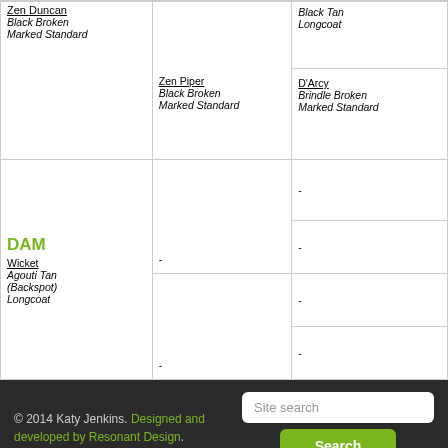| Col1 | Col2 | Col3 |
| --- | --- | --- |
| Zen Duncan
Black Broken Marked Standard | Zen Piper
Black Broken Marked Standard | Black Tan Longcoat
---
D'Arcy
Brindle Broken Marked Standard |
| DAM
Wicket
Agouti Tan (Backspot) Longcoat | -
- | -
-
-
- |
© 2014 Katy Jenkins. Designed and developed by Resonant Design.